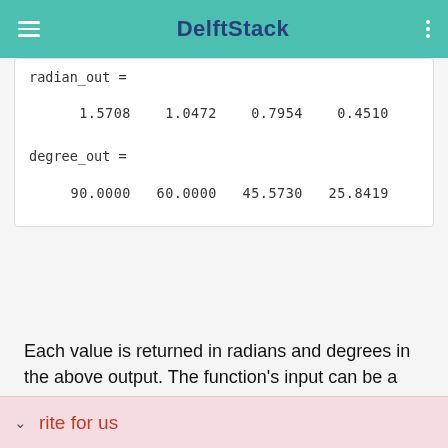DelftStack
radian_out =

    1.5708    1.0472    0.7954    0.4510

degree_out =

   90.0000   60.0000   45.5730   25.8419
Each value is returned in radians and degrees in the above output. The function’s input can be a scalar, vector, matrix, or multidimensional array of real or complex values.
rite for us